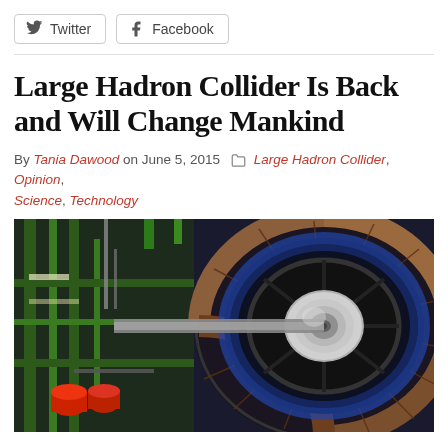Twitter  Facebook
Large Hadron Collider Is Back and Will Change Mankind
By Tania Dawood on June 5, 2015  Large Hadron Collider, Opinion, Science, Technology
[Figure (photo): Photograph of the Large Hadron Collider detector, showing a large circular accelerator apparatus with concentric rings of electronics and metalwork inside a green-framed industrial facility.]